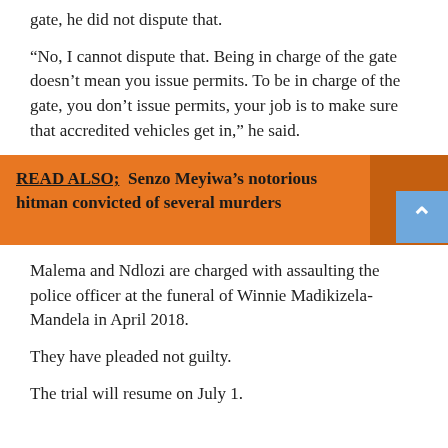gate, he did not dispute that.
“No, I cannot dispute that. Being in charge of the gate doesn’t mean you issue permits. To be in charge of the gate, you don’t issue permits, your job is to make sure that accredited vehicles get in,” he said.
[Figure (infographic): Orange READ ALSO callout box: 'READ ALSO; Senzo Meyiwa’s notorious hitman convicted of several murders' with a darker orange arrow button on the right.]
Malema and Ndlozi are charged with assaulting the police officer at the funeral of Winnie Madikizela-Mandela in April 2018.
They have pleaded not guilty.
The trial will resume on July 1.